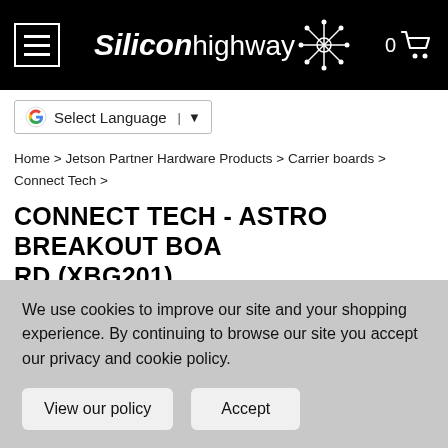Siliconhighway — 0 cart
Select Language ▼
Home > Jetson Partner Hardware Products > Carrier boards > Connect Tech >
CONNECT TECH - ASTRO BREAKOUT BOARD (XBG201)
[Figure (photo): Product image area for Astro Breakout Board XBG201, partially visible]
We use cookies to improve our site and your shopping experience. By continuing to browse our site you accept our privacy and cookie policy.
View our policy   Accept